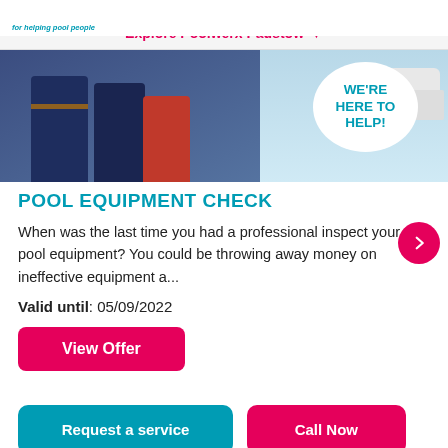for helping pool people
Explore Poolwerx Padstow
[Figure (photo): Photo of pool service staff with 'WE'RE HERE TO HELP!' speech bubble, alongside a service vehicle]
POOL EQUIPMENT CHECK
When was the last time you had a professional inspect your pool equipment? You could be throwing away money on ineffective equipment a...
Valid until: 05/09/2022
View Offer
Request a service
Call Now